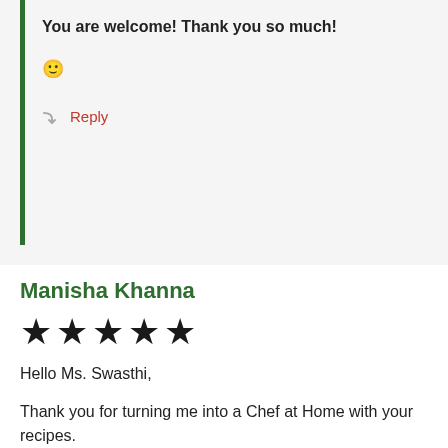You are welcome! Thank you so much!
🙂
Reply
Manisha Khanna
[Figure (other): Five filled black stars representing a 5-star rating]
Hello Ms. Swasthi,

Thank you for turning me into a Chef at Home with your recipes.

I really want to acknowledge you for the ways you make cooking so easy and delectable.

For me, any recipe is Swasthi's recipe, now and always.